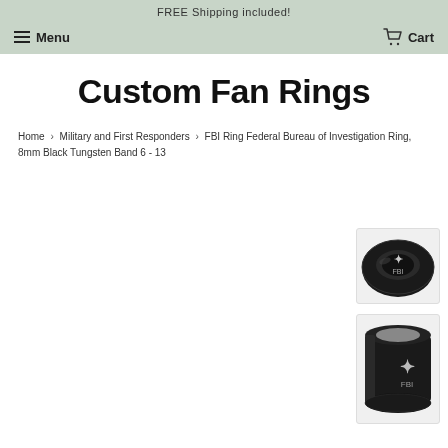FREE Shipping included!
Menu   Cart
Custom Fan Rings
Home › Military and First Responders › FBI Ring Federal Bureau of Investigation Ring, 8mm Black Tungsten Band 6 - 13
[Figure (photo): Black tungsten ring with FBI eagle emblem, top-down angled view]
[Figure (photo): Black tungsten ring with FBI eagle emblem, side angled view showing wider band]